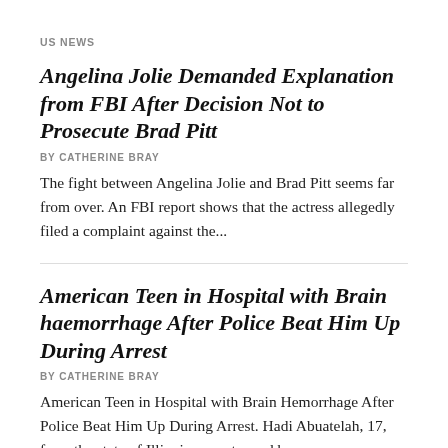US NEWS
Angelina Jolie Demanded Explanation from FBI After Decision Not to Prosecute Brad Pitt
BY CATHERINE BRAY
The fight between Angelina Jolie and Brad Pitt seems far from over. An FBI report shows that the actress allegedly filed a complaint against the...
American Teen in Hospital with Brain haemorrhage After Police Beat Him Up During Arrest
BY CATHERINE BRAY
American Teen in Hospital with Brain Hemorrhage After Police Beat Him Up During Arrest. Hadi Abuatelah, 17, from the state of Illinois, was stopped by...